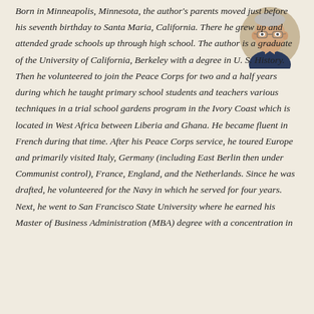[Figure (photo): Circular headshot photo of an elderly man with glasses, smiling, wearing a suit and tie, positioned in the top-right corner of the page.]
Born in Minneapolis, Minnesota, the author's parents moved just before his seventh birthday to Santa Maria, California. There he grew up and attended grade schools up through high school. The author is a graduate of the University of California, Berkeley with a degree in U. S. History. Then he volunteered to join the Peace Corps for two and a half years during which he taught primary school students and teachers various techniques in a trial school gardens program in the Ivory Coast which is located in West Africa between Liberia and Ghana. He became fluent in French during that time. After his Peace Corps service, he toured Europe and primarily visited Italy, Germany (including East Berlin then under Communist control), France, England, and the Netherlands. Since he was drafted, he volunteered for the Navy in which he served for four years. Next, he went to San Francisco State University where he earned his Master of Business Administration (MBA) degree with a concentration in